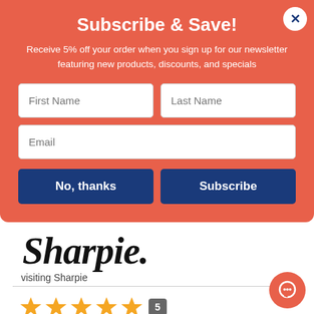Subscribe & Save!
Receive 5% off your order when you sign up for our newsletter featuring new products, discounts, and specials
[Figure (screenshot): Email subscription form with First Name, Last Name, Email fields, No thanks and Subscribe buttons on a coral/red background]
[Figure (logo): Sharpie logo in cursive black script]
visiting Sharpie
[Figure (infographic): Five orange stars rating with number 5 badge]
The name says it all